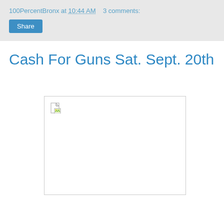100PercentBronx at 10:44 AM   3 comments:
Cash For Guns Sat. Sept. 20th
[Figure (other): Broken image placeholder with document/image icon in top-left corner, white background with gray border]